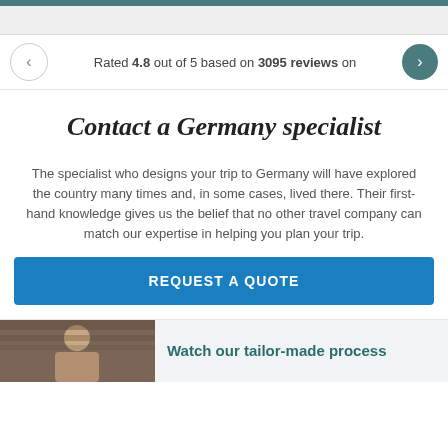Rated 4.8 out of 5 based on 3095 reviews on
Contact a Germany specialist
The specialist who designs your trip to Germany will have explored the country many times and, in some cases, lived there. Their first-hand knowledge gives us the belief that no other travel company can match our expertise in helping you plan your trip.
REQUEST A QUOTE
Watch our tailor-made process